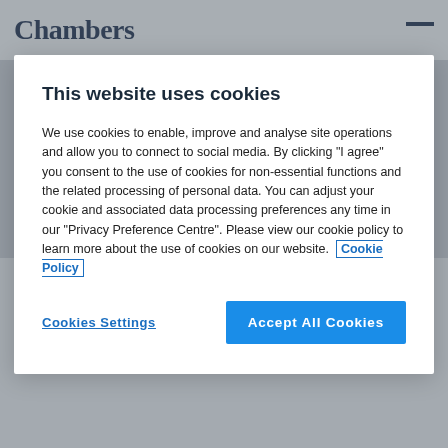Chambers
This website uses cookies
We use cookies to enable, improve and analyse site operations and allow you to connect to social media. By clicking "I agree" you consent to the use of cookies for non-essential functions and the related processing of personal data. You can adjust your cookie and associated data processing preferences any time in our "Privacy Preference Centre". Please view our cookie policy to learn more about the use of cookies on our website. Cookie Policy
Cookies Settings
Accept All Cookies
Dentons LEAD
1 ranked departments • 1 ranked lawyers •
Contact information